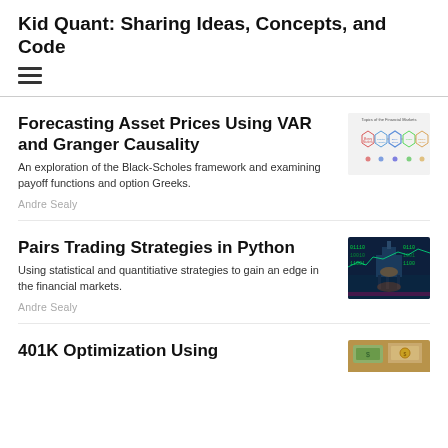Kid Quant: Sharing Ideas, Concepts, and Code
Forecasting Asset Prices Using VAR and Granger Causality
An exploration of the Black-Scholes framework and examining payoff functions and option Greeks.
Andre Sealy
[Figure (infographic): Hexagonal diagram labeled 'Topics of the Financial Markets' with connected colored hexagons]
Pairs Trading Strategies in Python
Using statistical and quantitiative strategies to gain an edge in the financial markets.
Andre Sealy
[Figure (photo): Dark blue/teal image of an oil rig at night with green stock market data overlay]
401K Optimization Using
[Figure (photo): Image with money/financial context, partially visible]